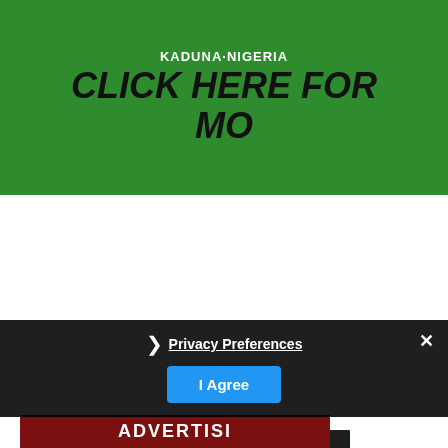[Figure (illustration): Green banner with text KADUNA NIGERIA and CLICK HERE FOR MO in bold italic black text on green background]
[Figure (photo): Dark overlay photo of students/people with text: Download the Compulsory, Free Universal Basic Education Act (aka UBE Act) 2004 here]
Download the Compulsory, Free Universal Basic Education Act (aka UBE Act) 2004 here
❯ Privacy Preferences
I Agree
[Figure (illustration): Partial red banner at bottom showing ADVERTISI text]